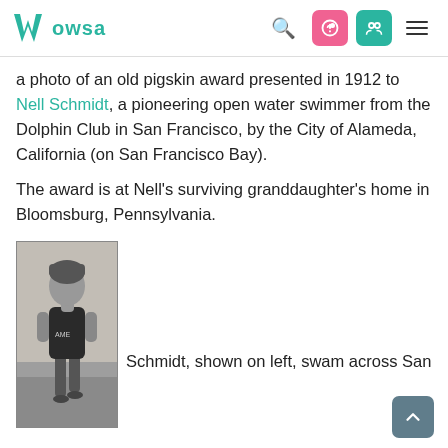WOWSA [search icon] [lock icon] [person icon] [menu icon]
a photo of an old pigskin award presented in 1912 to Nell Schmidt, a pioneering open water swimmer from the Dolphin Club in San Francisco, by the City of Alameda, California (on San Francisco Bay).
The award is at Nell’s surviving granddaughter’s home in Bloomsburg, Pennsylvania.
[Figure (photo): Black and white photograph of Nell Schmidt, a female swimmer, standing in a swimsuit near water]
Schmidt, shown on left, swam across San